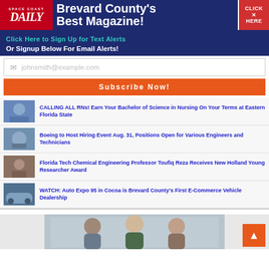[Figure (logo): Space Coast Daily newspaper logo banner with red logo on left, 'Brevard County's Best Magazine!' in white text on navy, and red 'Click Here' button on right]
Click Here to Sign Up for Text Alerts
Or Signup Below For Email Alerts!
[Figure (screenshot): Email signup form with placeholder 'johnsmith@example.com' and orange 'Subscribe Now!' button]
CALLING ALL RNs! Earn Your Bachelor of Science in Nursing On Your Terms at Eastern Florida State
Boeing to Host Hiring Event Aug. 31, Positions Open for Various Engineers and Technicians
Florida Tech Chemical Engineering Professor Toufiq Reza Receives New Holland Young Researcher Award
WATCH: Auto Expo 95 in Cocoa is Brevard County's First E-Commerce Vehicle Dealership
[Figure (photo): Group photo of people, partially cropped at bottom of page]